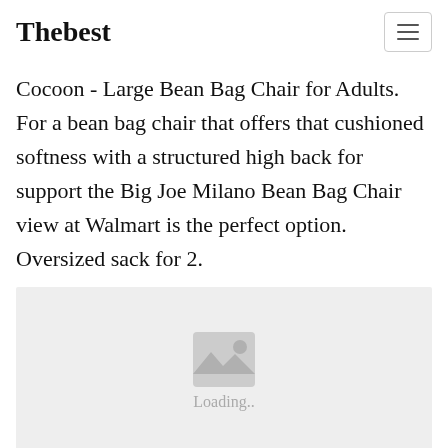Thebest
Cocoon - Large Bean Bag Chair for Adults. For a bean bag chair that offers that cushioned softness with a structured high back for support the Big Joe Milano Bean Bag Chair view at Walmart is the perfect option. Oversized sack for 2.
[Figure (photo): Image loading placeholder with a mountain/photo icon and 'Loading..' text on a light grey background]